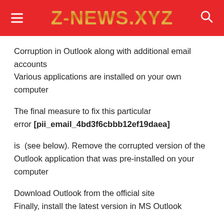Z-NEWS.XYZ
Corruption in Outlook along with additional email accounts
Various applications are installed on your own computer
The final measure to fix this particular error [pii_email_4bd3f6cbbb12ef19daea]
is  (see below). Remove the corrupted version of the Outlook application that was pre-installed on your computer
Download Outlook from the official site
Finally, install the latest version in MS Outlook
Conclusion